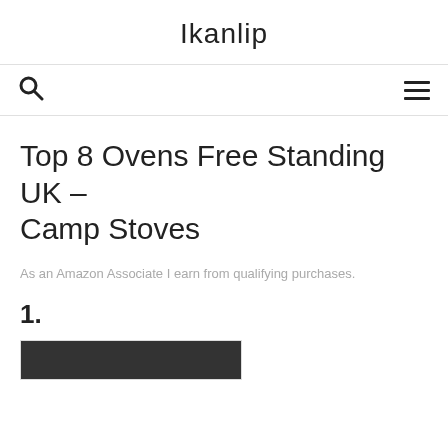Ikanlip
Top 8 Ovens Free Standing UK – Camp Stoves
As an Amazon Associate I earn from qualifying purchases.
1.
As an Amazon Associate I earn from qualifying purchases. This website uses the only necessary cookies to ensure you get the best experience on our website. More information